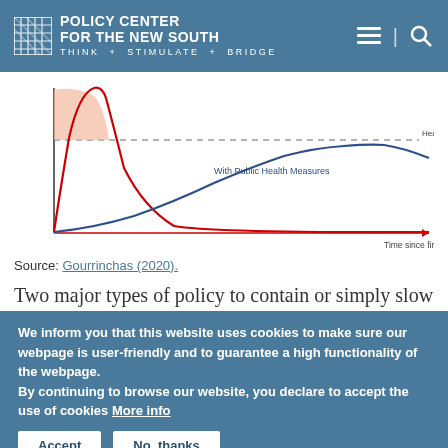POLICY CENTER FOR THE NEW SOUTH — THINK + STIMULATE + BRIDGE
[Figure (continuous-plot): Epidemiological curve chart showing two curves: a steep red curve (without public health measures) that peaks high above the healthcare system capacity line, and a flatter blue curve labeled 'With Public Health Measures' that stays near the dashed horizontal line labeled 'Healthcare System Capacity'. X-axis is 'Time since first case'. A shaded salmon/pink area appears at the top of the red curve above the capacity line. Source: Gourrinchas (2020).]
Source: Gourrinchas (2020).
Two major types of policy to contain or simply slow
We inform you that this website uses cookies to make sure our webpage is user-friendly and to guarantee a high functionality of the webpage.
By continuing to browse our website, you declare to accept the use of cookies More info
Accept   No, thanks